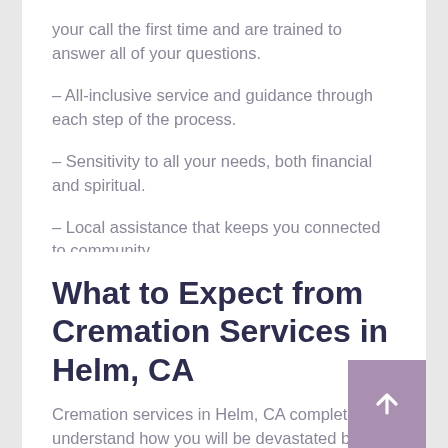your call the first time and are trained to answer all of your questions.
– All-inclusive service and guidance through each step of the process.
– Sensitivity to all your needs, both financial and spiritual.
– Local assistance that keeps you connected to community.
What to Expect from Cremation Services in Helm, CA
Cremation services in Helm, CA completely understand how you will be devastated by the